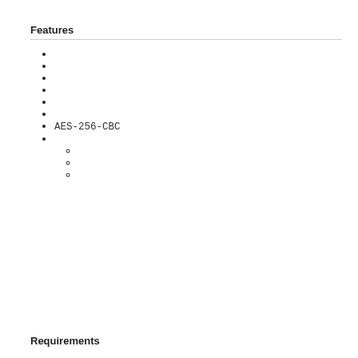Features
AES-256-CBC
Requirements